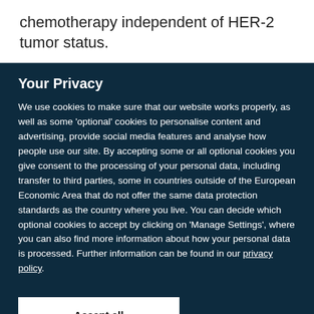chemotherapy independent of HER-2 tumor status.
Your Privacy
We use cookies to make sure that our website works properly, as well as some 'optional' cookies to personalise content and advertising, provide social media features and analyse how people use our site. By accepting some or all optional cookies you give consent to the processing of your personal data, including transfer to third parties, some in countries outside of the European Economic Area that do not offer the same data protection standards as the country where you live. You can decide which optional cookies to accept by clicking on 'Manage Settings', where you can also find more information about how your personal data is processed. Further information can be found in our privacy policy.
Accept all cookies
Manage preferences